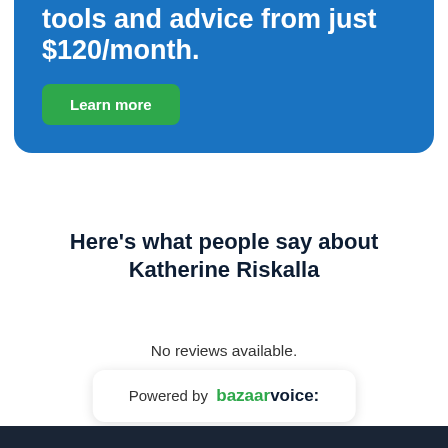tools and advice from just $120/month.
Learn more
Here's what people say about Katherine Riskalla
No reviews available.
[Figure (logo): Powered by bazaarvoice: logo badge in a white rounded card with shadow]